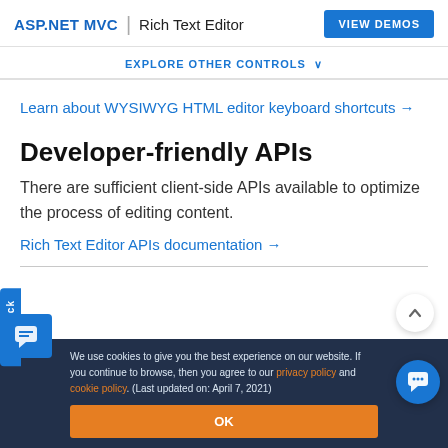ASP.NET MVC | Rich Text Editor
EXPLORE OTHER CONTROLS ∨
Learn about WYSIWYG HTML editor keyboard shortcuts →
Developer-friendly APIs
There are sufficient client-side APIs available to optimize the process of editing content.
Rich Text Editor APIs documentation →
We use cookies to give you the best experience on our website. If you continue to browse, then you agree to our privacy policy and cookie policy. (Last updated on: April 7, 2021)
OK